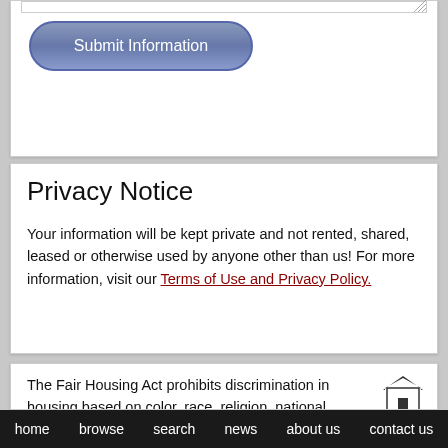[Figure (screenshot): Submit Information button - blue rounded pill-shaped button]
Privacy Notice
Your information will be kept private and not rented, shared, leased or otherwise used by anyone other than us! For more information, visit our Terms of Use and Privacy Policy.
The Fair Housing Act prohibits discrimination in housing based on color, race, religion, national origin, sex, familial status, or disability.
Information Deemed Reliable But Not Guaranteed. The
home   browse   search   news   about us   contact us